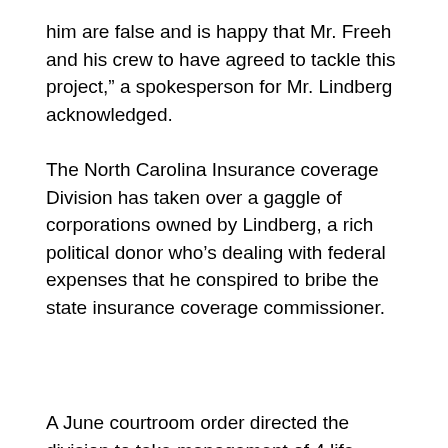him are false and is happy that Mr. Freeh and his crew to have agreed to tackle this project," a spokesperson for Mr. Lindberg acknowledged.
The North Carolina Insurance coverage Division has taken over a gaggle of corporations owned by Lindberg, a rich political donor who’s dealing with federal expenses that he conspired to bribe the state insurance coverage commissioner.
A June courtroom order directed the division to take management of 4 life insurance coverage corporations, which Lindberg acquired in recent times after which operated as International Bankers Insurance coverage Group.